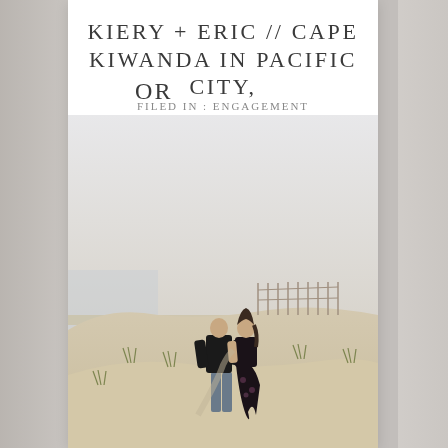KIERY + ERIC // CAPE KIWANDA IN PACIFIC CITY, OR
FILED IN : ENGAGEMENT
[Figure (photo): A couple walking together across sandy dunes at Cape Kiwanda, Pacific City, Oregon. The man is wearing a black long-sleeve shirt and jeans; the woman is wearing a black floral dress. Grass grows from the sandy dunes, and a wooden fence is visible in the background under a hazy sky.]